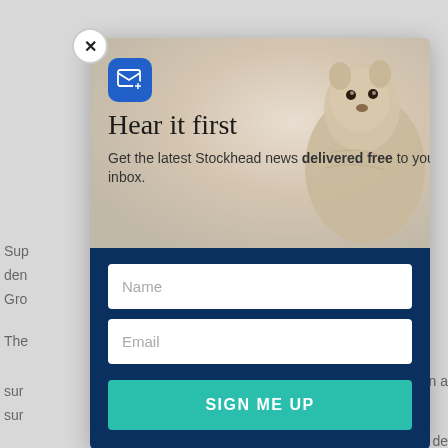Sup
den
Gro

The
sur
sur

"Th
a di
gro

"Ni
bat
[Figure (screenshot): Email newsletter signup modal popup overlay on a webpage. The modal shows a marmot/groundhog animal in the background image, a blue email icon, headline 'Hear it first', subtitle 'Get the latest Stockhead news delivered free to your inbox.', Name input field, Email input field, and a teal 'SIGN ME UP' button. A close button (X) is in the top-left corner of the modal.]